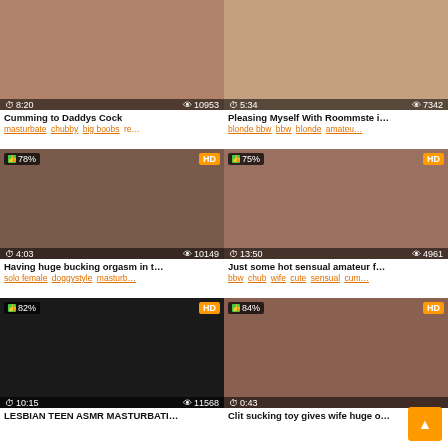[Figure (screenshot): Video thumbnail grid item 1 - Cumming to Daddys Cock, duration 8:20, views 10953]
Cumming to Daddys Cock
masturbate chubby big boobs re…
[Figure (screenshot): Video thumbnail grid item 2 - Pleasing Myself With Roommste i…, duration 5:34, views 7342]
Pleasing Myself With Roommste i…
blonde bbw bbw blonde amateu…
[Figure (screenshot): Video thumbnail grid item 3 - Having huge bucking orgasm in t…, 78% rating, HD, duration 4:03, views 10149]
Having huge bucking orgasm in t…
solo female doggystyle masturb…
[Figure (screenshot): Video thumbnail grid item 4 - Just some hot sensual amateur f…, 75% rating, HD, duration 13:50, views 4961]
Just some hot sensual amateur f…
bbw chub wife cute sensual cum…
[Figure (screenshot): Video thumbnail grid item 5 - LESBIAN TEEN ASMR MASTURBATI…, 82% rating, HD, duration 10:15, views 11568]
LESBIAN TEEN ASMR MASTURBATI…
[Figure (screenshot): Video thumbnail grid item 6 - Clit sucking toy gives wife huge o…, 84% rating, HD, duration 0:43]
Clit sucking toy gives wife huge o…